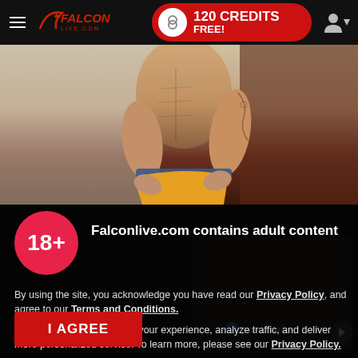Falcon Live .com — 120 CREDITS FREE!
[Figure (photo): Shirtless muscular male model posing with yellow underwear and tattoos on right arm, against a grey and dark red background.]
Falconlive.com contains adult content
By using the site, you acknowledge you have read our Privacy Policy, and agree to our Terms and Conditions.
We use cookies to optimize your experience, analyze traffic, and deliver more personalized service. To learn more, please see our Privacy Policy.